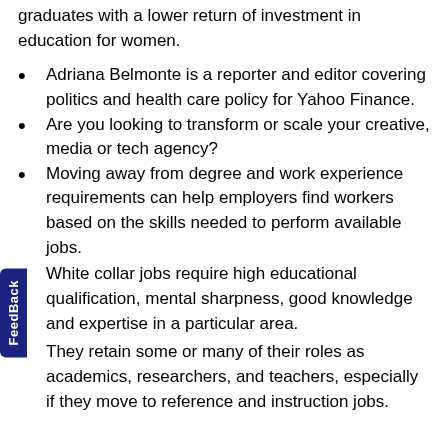graduates with a lower return of investment in education for women.
Adriana Belmonte is a reporter and editor covering politics and health care policy for Yahoo Finance.
Are you looking to transform or scale your creative, media or tech agency?
Moving away from degree and work experience requirements can help employers find workers based on the skills needed to perform available jobs.
White collar jobs require high educational qualification, mental sharpness, good knowledge and expertise in a particular area.
They retain some or many of their roles as academics, researchers, and teachers, especially if they move to reference and instruction jobs.